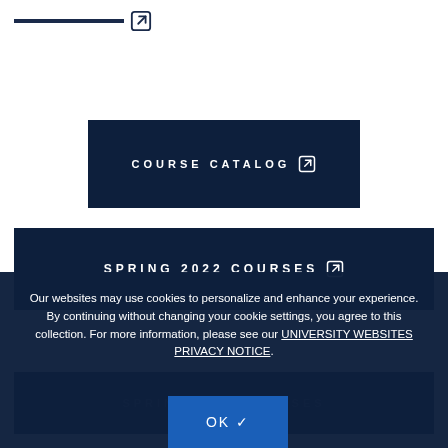[Figure (screenshot): A link bar with underline and external link icon at the top of the page]
COURSE CATALOG [external link icon]
SPRING 2022 COURSES [external link icon]
Our websites may use cookies to personalize and enhance your experience. By continuing without changing your cookie settings, you agree to this collection. For more information, please see our UNIVERSITY WEBSITES PRIVACY NOTICE.
SPRING 2023 COURSES
OK ✓